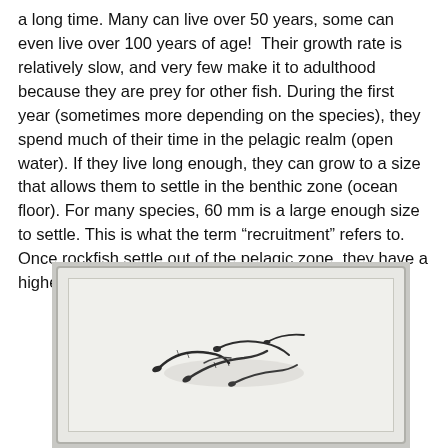a long time. Many can live over 50 years, some can even live over 100 years of age!  Their growth rate is relatively slow, and very few make it to adulthood because they are prey for other fish. During the first year (sometimes more depending on the species), they spend much of their time in the pelagic realm (open water). If they live long enough, they can grow to a size that allows them to settle in the benthic zone (ocean floor). For many species, 60 mm is a large enough size to settle. This is what the term “recruitment” refers to. Once rockfish settle out of the pelagic zone, they have a higher chance of reaching reproductive maturity.
[Figure (photo): Photo of juvenile rockfish larvae in a white tray with water. Several small dark fish with striped or mottled patterns are visible against the light background of the tray.]